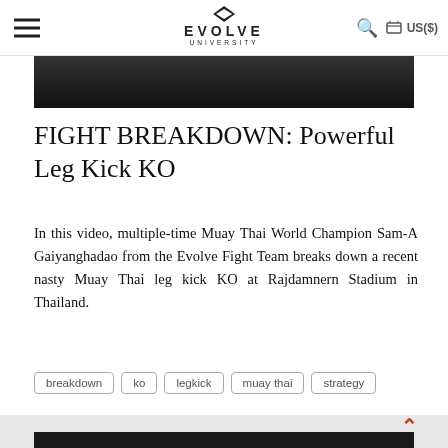EVOLVE UNIVERSITY — US($)
[Figure (photo): Dark background image at the top of the article, partially visible]
FIGHT BREAKDOWN: Powerful Leg Kick KO
In this video, multiple-time Muay Thai World Champion Sam-A Gaiyanghadao from the Evolve Fight Team breaks down a recent nasty Muay Thai leg kick KO at Rajdamnern Stadium in Thailand.
breakdown
ko
legkick
muay thai
strategy
[Figure (photo): Dark image at the bottom of the page, partially visible]